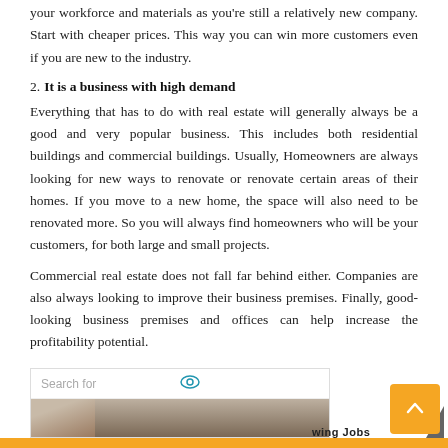your workforce and materials as you're still a relatively new company. Start with cheaper prices. This way you can win more customers even if you are new to the industry.
2. It is a business with high demand
Everything that has to do with real estate will generally always be a good and very popular business. This includes both residential buildings and commercial buildings. Usually, Homeowners are always looking for new ways to renovate or renovate certain areas of their homes. If you move to a new home, the space will also need to be renovated more. So you will always find homeowners who will be your customers, for both large and small projects.
Commercial real estate does not fall far behind either. Companies are also always looking to improve their business premises. Finally, good-looking business premises and offices can help increase the profitability potential.
[Figure (screenshot): Search bar widget with eye icon and partial image below showing two people, with partial text cut off at bottom]